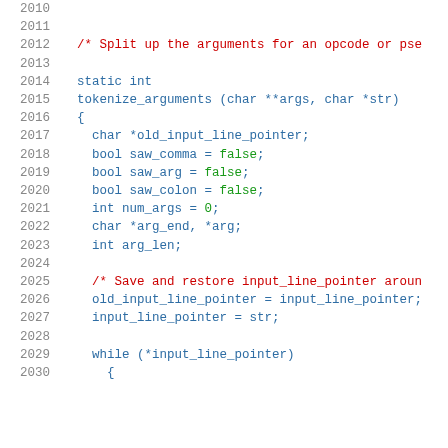2010-2030 source code listing showing tokenize_arguments function